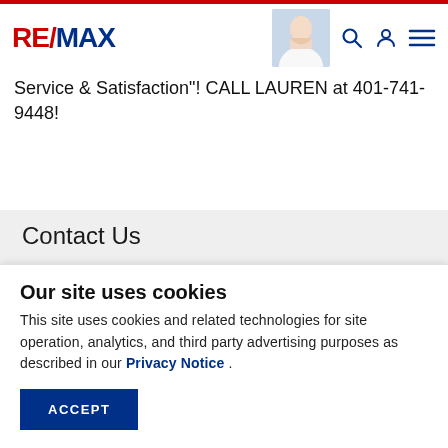RE/MAX
Service & Satisfaction"! CALL LAUREN at 401-741-9448!
Contact Us
FIRST NAME
Enter Your First Name
Our site uses cookies
This site uses cookies and related technologies for site operation, analytics, and third party advertising purposes as described in our Privacy Notice .
ACCEPT